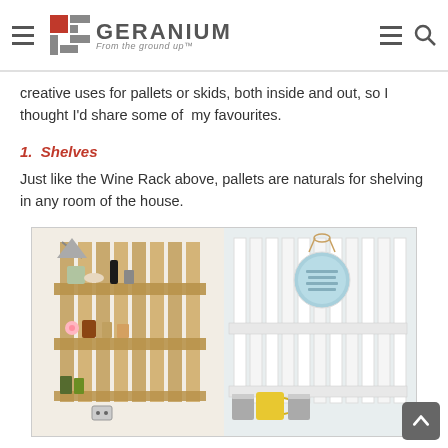GERANIUM — From the ground up
creative uses for pallets or skids, both inside and out, so I thought I'd share some of  my favourites.
1.  Shelves
Just like the Wine Rack above, pallets are naturals for shelving in any room of the house.
[Figure (photo): Two side-by-side photos of pallet shelves: left shows a natural wood pallet used as kitchen shelving with jars, bottles, and flowers; right shows a white-painted pallet shelf with a decorative round sign and yellow/silver cups.]